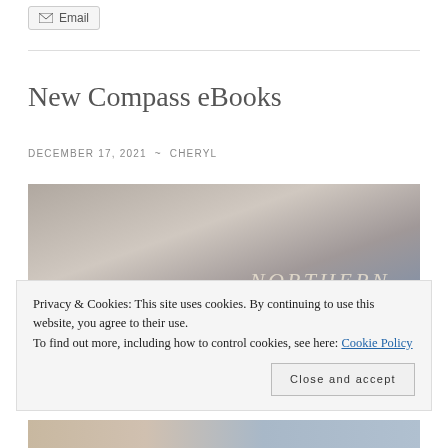✉ Email
New Compass eBooks
DECEMBER 17, 2021 ~ CHERYL
[Figure (photo): Photograph of books on a surface, showing spines with the word NORTHERN visible]
Privacy & Cookies: This site uses cookies. By continuing to use this website, you agree to their use.
To find out more, including how to control cookies, see here: Cookie Policy
Close and accept